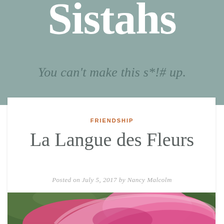Sistahs
You can't make this s*!# up.
FRIENDSHIP
La Langue des Fleurs
Posted on July 5, 2017 by Nancy Malcolm
[Figure (photo): Close-up photograph of a pink rose with petals in sharp focus against a blurred green background]